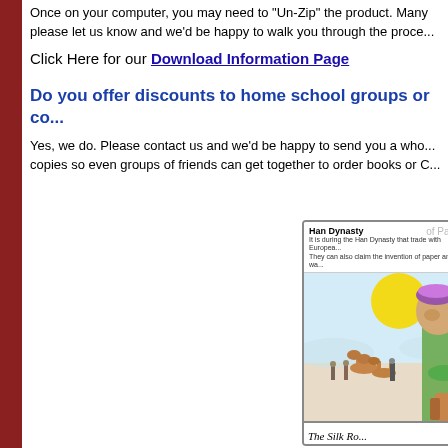Once on your computer, you may need to "Un-Zip" the product. Many please let us know and we'd be happy to walk you through the proce...
Click Here for our Download Information Page
Do you offer discounts to home school groups or co...
Yes, we do. Please contact us and we'd be happy to send you a who... copies so even groups of friends can get together to order books or C...
[Figure (illustration): Screenshot of an educational card about the Han Dynasty showing text about trade with Europeans and invention of paper, with a hand-drawn colored illustration of a Silk Road scene depicting people and camels with a large yellow sun, and handwritten text reading 'The Silk Ro...' and 'It must have been exc...']